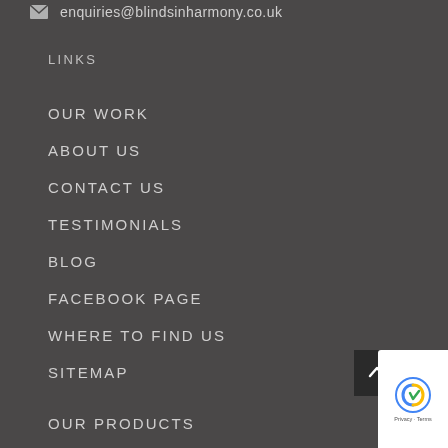enquiries@blindsinharmony.co.uk
LINKS
OUR WORK
ABOUT US
CONTACT US
TESTIMONIALS
BLOG
FACEBOOK PAGE
WHERE TO FIND US
SITEMAP
OUR PRODUCTS
[Figure (other): Scroll-to-top button (dark square with upward arrow) and reCAPTCHA badge (Privacy - Terms)]